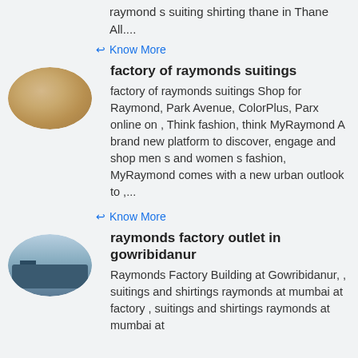raymond s suiting shirting thane in Thane All....
↩ Know More
[Figure (photo): Oval thumbnail image of fabric texture in beige/tan tones]
factory of raymonds suitings
factory of raymonds suitings Shop for Raymond, Park Avenue, ColorPlus, Parx online on , Think fashion, think MyRaymond A brand new platform to discover, engage and shop men s and women s fashion, MyRaymond comes with a new urban outlook to ,...
↩ Know More
[Figure (photo): Oval thumbnail image of a factory building at Gowribidanur]
raymonds factory outlet in gowribidanur
Raymonds Factory Building at Gowribidanur, , suitings and shirtings raymonds at mumbai at factory , suitings and shirtings raymonds at mumbai at